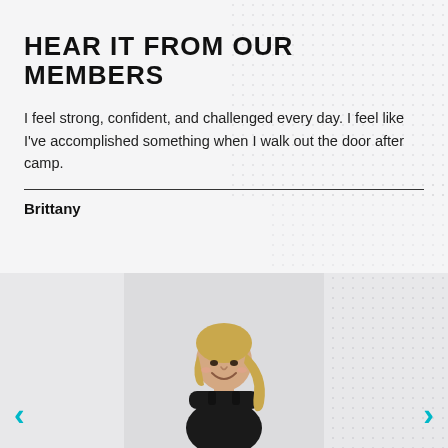HEAR IT FROM OUR MEMBERS
I feel strong, confident, and challenged every day. I feel like I’ve accomplished something when I walk out the door after camp.
Brittany
[Figure (photo): Photo of a smiling woman with blonde hair in a ponytail wearing a black tank top, with navigation arrows on left and right sides]